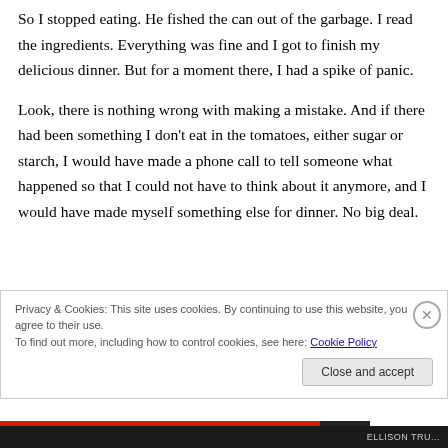So I stopped eating. He fished the can out of the garbage. I read the ingredients. Everything was fine and I got to finish my delicious dinner. But for a moment there, I had a spike of panic.
Look, there is nothing wrong with making a mistake. And if there had been something I don't eat in the tomatoes, either sugar or starch, I would have made a phone call to tell someone what happened so that I could not have to think about it anymore, and I would have made myself something else for dinner. No big deal.
Privacy & Cookies: This site uses cookies. By continuing to use this website, you agree to their use.
To find out more, including how to control cookies, see here: Cookie Policy
Close and accept